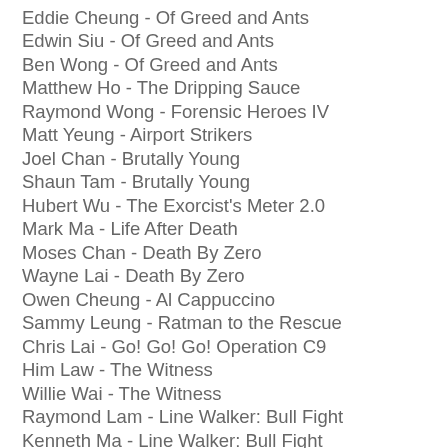Eddie Cheung - Of Greed and Ants
Edwin Siu - Of Greed and Ants
Ben Wong - Of Greed and Ants
Matthew Ho - The Dripping Sauce
Raymond Wong - Forensic Heroes IV
Matt Yeung - Airport Strikers
Joel Chan - Brutally Young
Shaun Tam - Brutally Young
Hubert Wu - The Exorcist's Meter 2.0
Mark Ma - Life After Death
Moses Chan - Death By Zero
Wayne Lai - Death By Zero
Owen Cheung - Al Cappuccino
Sammy Leung - Ratman to the Rescue
Chris Lai - Go! Go! Go! Operation C9
Him Law - The Witness
Willie Wai - The Witness
Raymond Lam - Line Walker: Bull Fight
Kenneth Ma - Line Walker: Bull Fight
Michael Miu - Line Walker: Bull Fight
Benjamin Yuen - Line Walker: Bull Fight
Vincent Wong - Legal Mavericks 2020